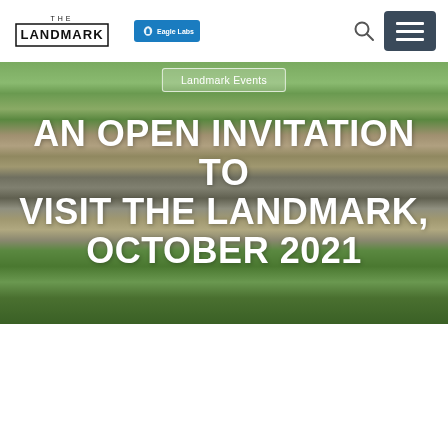[Figure (logo): The Landmark logo with Eagle Labs (Barclays) badge, search icon, and hamburger menu button]
[Figure (photo): Aerial photograph of a town (The Landmark location), showing roads, buildings, green areas, and a roundabout, taken from above]
Landmark Events
AN OPEN INVITATION TO VISIT THE LANDMARK, OCTOBER 2021